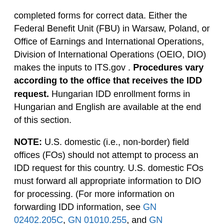completed forms for correct data. Either the Federal Benefit Unit (FBU) in Warsaw, Poland, or Office of Earnings and International Operations, Division of International Operations (OEIO, DIO) makes the inputs to ITS.gov . Procedures vary according to the office that receives the IDD request. Hungarian IDD enrollment forms in Hungarian and English are available at the end of this section.
NOTE: U.S. domestic (i.e., non-border) field offices (FOs) should not attempt to process an IDD request for this country. U.S. domestic FOs must forward all appropriate information to DIO for processing. (For more information on forwarding IDD information, see GN 02402.205C, GN 01010.255, and GN 01702.310C).
A.  Introduction To Coding Hungarian Bank Data